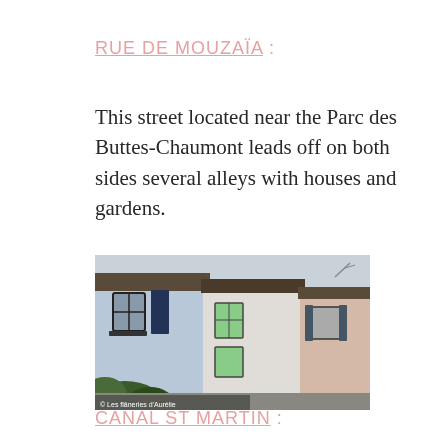RUE DE MOUZAÏA :
This street located near the Parc des Buttes-Chaumont leads off on both sides several alleys with houses and gardens.
[Figure (photo): Photograph of colorful row houses along Rue de Mouzaïa, Paris. Facades are painted light blue, white, and peach/pink. Houses have French-style windows with dark shutters and wrought-iron balconies. Green shutters visible on the middle house. Lush green ivy/shrubs in the foreground. A street lamp is visible. Watermark reads: © Les flâneries d'Aurélie]
CANAL ST MARTIN :